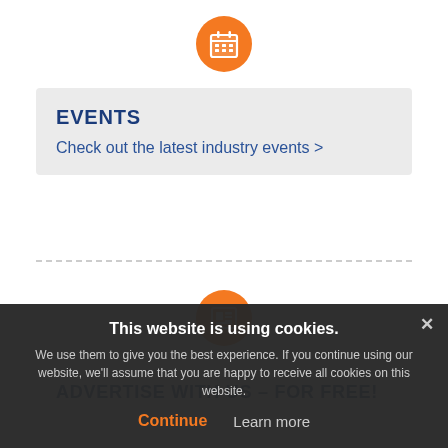[Figure (illustration): Orange circle with white calendar icon]
EVENTS
Check out the latest industry events >
[Figure (illustration): Orange circle with white newspaper/article icon]
ADVERTISE WITH US – FOR FREE!
This website is using cookies.
We use them to give you the best experience. If you continue using our website, we'll assume that you are happy to receive all cookies on this website.
Continue   Learn more